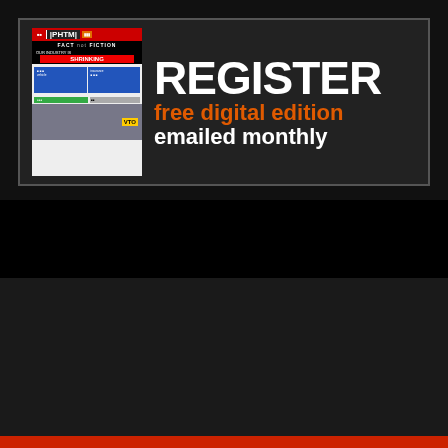[Figure (illustration): Advertisement banner: magazine cover thumbnail on left, large white text 'REGISTER' with orange 'free digital edition' and white 'emailed monthly' on dark background]
This website uses cookies. Click 'Review' if you want to find out more or Close to accept.  Review
CLOSE